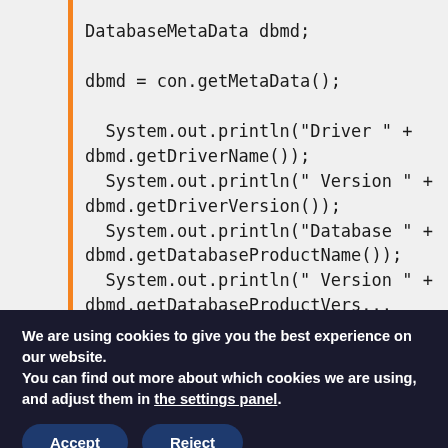DatabaseMetaData dbmd;

dbmd = con.getMetaData();

System.out.println("Driver " +
dbmd.getDriverName());
  System.out.println(" Version " +
dbmd.getDriverVersion());
  System.out.println("Database " +
dbmd.getDatabaseProductName());
  System.out.println(" Version " +
dbmd.getDatabaseProductVersion());
We are using cookies to give you the best experience on our website.
You can find out more about which cookies we are using, and adjust them in the settings panel.